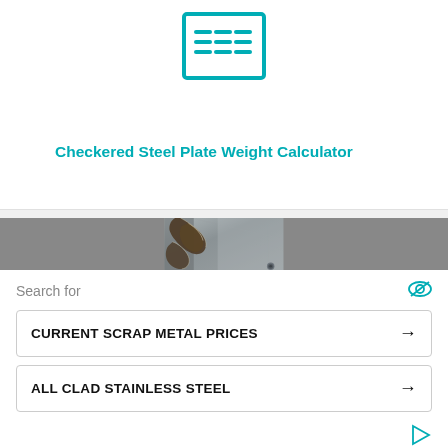[Figure (logo): EMEM logo with teal border rectangle and horizontal lines symbol]
Checkered Steel Plate Weight Calculator
[Figure (photo): Close-up photo of metal gears or laser-cut steel shapes on a steel plate surface]
Search for
CURRENT SCRAP METAL PRICES →
ALL CLAD STAINLESS STEEL →